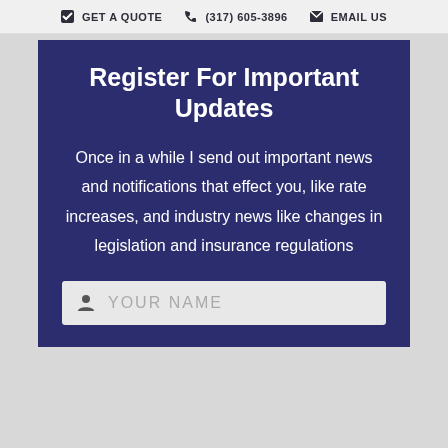GET A QUOTE  (317) 605-3896  EMAIL US
Register For Important Updates
Once in a while I send out important news and notifications that effect you, like rate increases, and industry news like changes in legislation and insurance regulations
YOUR NAME